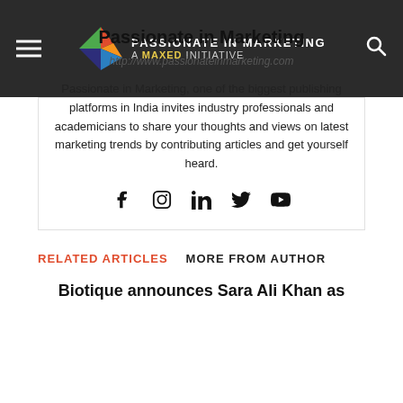Passionate in Marketing — A MaxEd Initiative
Passionate in Marketing
http://www.passionateinmarketing.com
Passionate in Marketing, one of the biggest publishing platforms in India invites industry professionals and academicians to share your thoughts and views on latest marketing trends by contributing articles and get yourself heard.
[Figure (other): Social media icons: Facebook, Instagram, LinkedIn, Twitter, YouTube]
RELATED ARTICLES   MORE FROM AUTHOR
Biotique announces Sara Ali Khan as